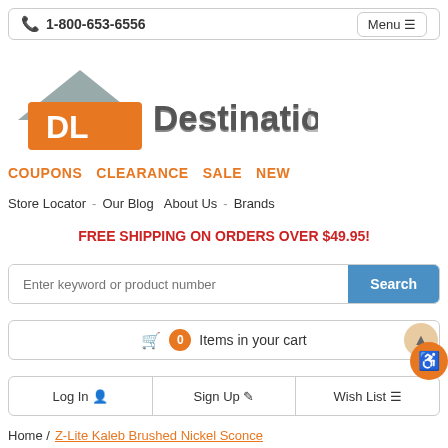1-800-653-6556  Menu
[Figure (logo): Destination Lighting logo with orange DL house icon and gray text]
COUPONS  CLEARANCE  SALE  NEW
Store Locator  -  Our Blog  About Us  -  Brands
FREE SHIPPING ON ORDERS OVER $49.95!
Enter keyword or product number  Search
0 Items in your cart
Log In  Sign Up  Wish List
Home / Z-Lite Kaleb Brushed Nickel Sconce